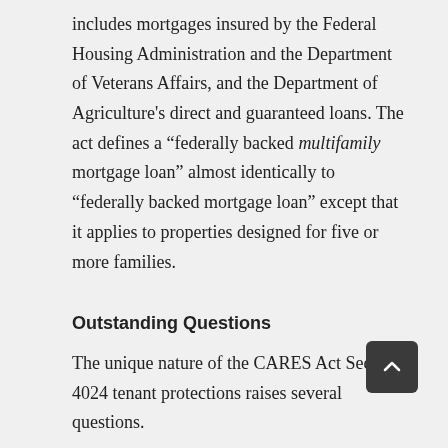includes mortgages insured by the Federal Housing Administration and the Department of Veterans Affairs, and the Department of Agriculture's direct and guaranteed loans. The act defines a “federally backed multifamily mortgage loan” almost identically to “federally backed mortgage loan” except that it applies to properties designed for five or more families.
Outstanding Questions
The unique nature of the CARES Act Section 4024 tenant protections raises several questions.
First, how many of the nation’s roughly 43 million renters live in “covered dwellings”? Researchers estimate that roughly 12.3 million rental units have federally backed financing, representing 28% of renters. Other data show